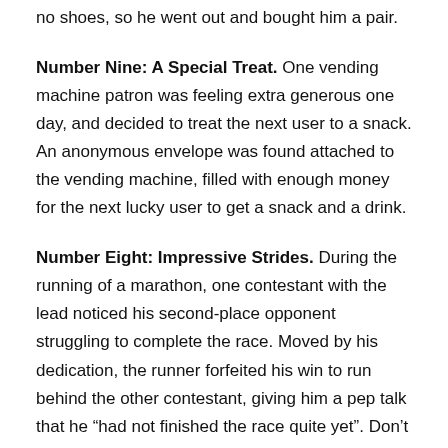no shoes, so he went out and bought him a pair.
Number Nine: A Special Treat. One vending machine patron was feeling extra generous one day, and decided to treat the next user to a snack. An anonymous envelope was found attached to the vending machine, filled with enough money for the next lucky user to get a snack and a drink.
Number Eight: Impressive Strides. During the running of a marathon, one contestant with the lead noticed his second-place opponent struggling to complete the race. Moved by his dedication, the runner forfeited his win to run behind the other contestant, giving him a pep talk that he “had not finished the race quite yet”. Don’t forget to check back for our coming part three article, featuring seven more acts of altruism to brighten your day!
TAGS:   ALTRUISM   KINDNESS   POLICE